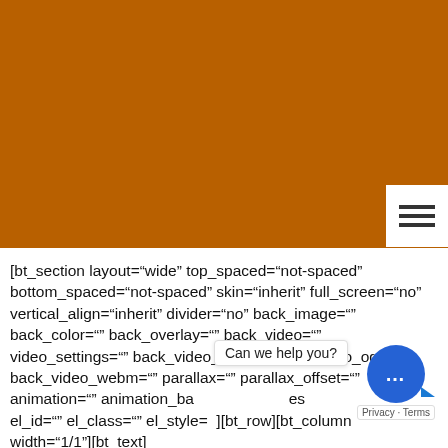[Figure (screenshot): Orange/brown colored header banner area of a website]
[bt_section layout="wide" top_spaced="not-spaced" bottom_spaced="not-spaced" skin="inherit" full_screen="no" vertical_align="inherit" divider="no" back_image="" back_color="" back_overlay="" back_video="" video_settings="" back_video_mp4="" back_video_ogg="" back_video_webm="" parallax="" parallax_offset="" animation="" animation_ba es el_id="" el_class="" el_style= ][bt_row][bt_column width="1/1"][bt_text]